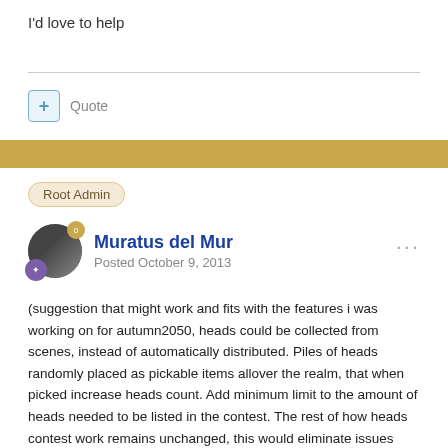I'd love to help
Quote
Root Admin
Muratus del Mur
Posted October 9, 2013
(suggestion that might work and fits with the features i was working on for autumn2050, heads could be collected from scenes, instead of automatically distributed. Piles of heads randomly placed as pickable items allover the realm, that when picked increase heads count. Add minimum limit to the amount of heads needed to be listed in the contest. The rest of how heads contest work remains unchanged, this would eliminate issues with people receiving heads if they are not actually participating)